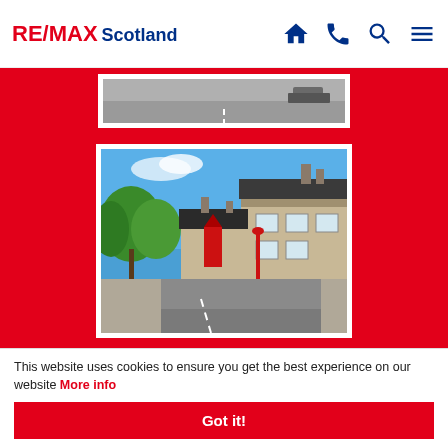[Figure (logo): RE/MAX Scotland logo with house, phone, search, and menu icons in header navigation bar]
[Figure (photo): Partially visible photo of a road/street scene with grey road surface, cropped at top]
[Figure (photo): Photo of a Scottish village street with stone cottages, grey slate roofs, chimneys, red lamp post, green trees, and blue sky]
[Figure (photo): Photo of a large green tree against a blue sky with stone buildings visible below, partially cropped at bottom]
This website uses cookies to ensure you get the best experience on our website More info
Got it!